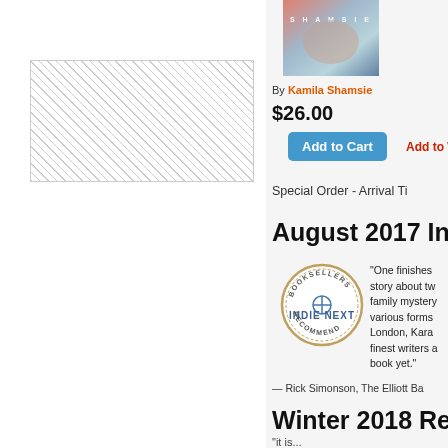[Figure (photo): Book cover for a novel by Kamila Shamsie with colorful abstract design and author name 'SHAMSIE']
By Kamila Shamsie
$26.00
Add to Cart
Add to W[ishlist]
Special Order - Arrival Ti[me Varies]
August 2017 Ind[ie Next]
[Figure (logo): Booksellers Indie Next Recommend circular badge/stamp logo]
“One finishes [this] story about tw[o women,] family mystery[, love in] various forms[, set in] London, Kara[chi—] finest writers a[nd best] book yet.”
— Rick Simonson, The Elliott Ba[y Book Company]
Winter 2018 Rea[ds]
“It is...